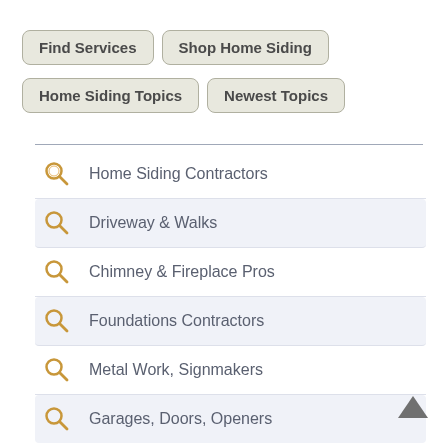Find Services
Shop Home Siding
Home Siding Topics
Newest Topics
Home Siding Contractors
Driveway & Walks
Chimney & Fireplace Pros
Foundations Contractors
Metal Work, Signmakers
Garages, Doors, Openers